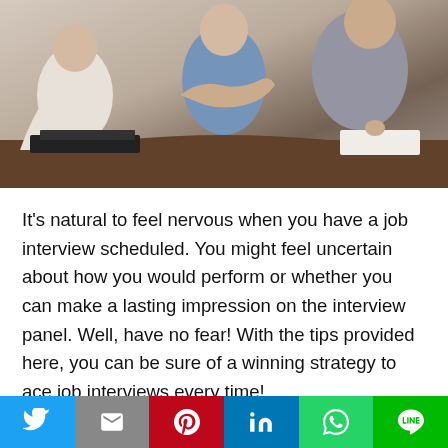[Figure (photo): People sitting around a conference table in a job interview or meeting setting, hands visible, one person appears to be shaking hands or gesturing]
It's natural to feel nervous when you have a job interview scheduled. You might feel uncertain about how you would perform or whether you can make a lasting impression on the interview panel. Well, have no fear! With the tips provided here, you can be sure of a winning strategy to ace job interviews every time!
The first tip is to prepare. Your level of
Twitter | Gmail | Pinterest | LinkedIn | WhatsApp | Line